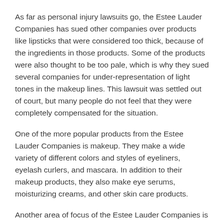As far as personal injury lawsuits go, the Estee Lauder Companies has sued other companies over products like lipsticks that were considered too thick, because of the ingredients in those products. Some of the products were also thought to be too pale, which is why they sued several companies for under-representation of light tones in the makeup lines. This lawsuit was settled out of court, but many people do not feel that they were completely compensated for the situation.
One of the more popular products from the Estee Lauder Companies is makeup. They make a wide variety of different colors and styles of eyeliners, eyelash curlers, and mascara. In addition to their makeup products, they also make eye serums, moisturizing creams, and other skin care products.
Another area of focus of the Estee Lauder Companies is breast enlargement surgery. While this particular cosmetic is not sold in most stores around the country, you can purchase the products online, and use them at your convenience.